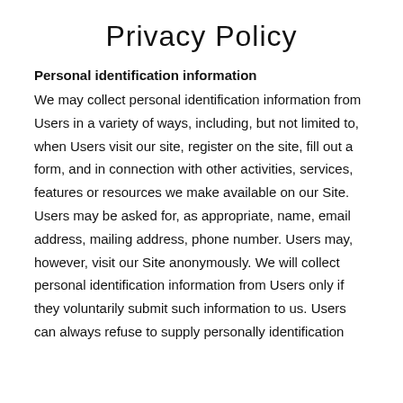Privacy Policy
Personal identification information
We may collect personal identification information from Users in a variety of ways, including, but not limited to, when Users visit our site, register on the site, fill out a form, and in connection with other activities, services, features or resources we make available on our Site. Users may be asked for, as appropriate, name, email address, mailing address, phone number. Users may, however, visit our Site anonymously. We will collect personal identification information from Users only if they voluntarily submit such information to us. Users can always refuse to supply personally identification